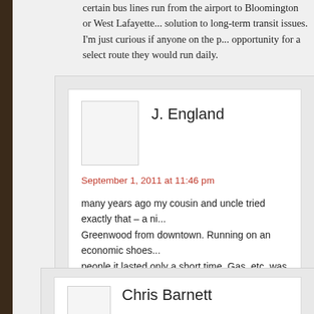certain bus lines run from the airport to Bloomington or West Lafayette... solution to long-term transit issues. I'm just curious if anyone on the p... opportunity for a select route they would run daily.
J. England
September 1, 2011 at 11:46 pm
many years ago my cousin and uncle tried exactly that – a ni... Greenwood from downtown. Running on an economic shoes... people it lasted only a short time. Gas, etc. was cheaper, but... bus riding AND more folks lived in suburb but worked downto...
Chris Barnett